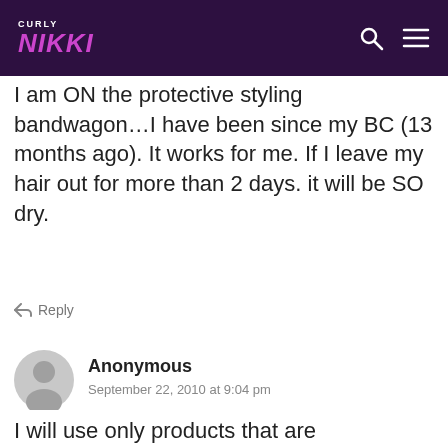CURLY NIKKI
I am ON the protective styling bandwagon…I have been since my BC (13 months ago). It works for me. If I leave my hair out for more than 2 days. it will be SO dry.
Reply
[Figure (illustration): Generic user avatar - grey circle with person silhouette]
Anonymous
September 22, 2010 at 9:04 pm
I will use only products that are